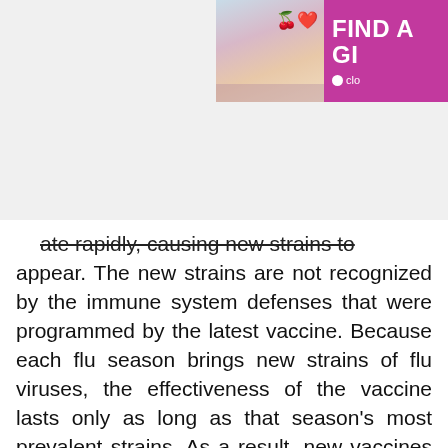[Figure (photo): Advertisement banner showing a woman with pink/purple background and text 'FIND A GI' with a dating app brand logo]
ate rapidly, causing new strains to appear. The new strains are not recognized by the immune system defenses that were programmed by the latest vaccine. Because each flu season brings new strains of flu viruses, the effectiveness of the vaccine lasts only as long as that season's most prevalent strains. As a result, new vaccines must be developed continually to protect us, and flu shots must be repeated each year.
Pneumonia
Pneumonia is an inflammation of the